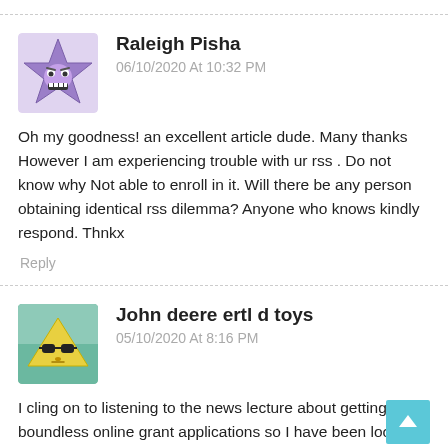[Figure (illustration): Purple angry star-shaped avatar with face and teeth]
Raleigh Pisha
06/10/2020 At 10:32 PM
Oh my goodness! an excellent article dude. Many thanks However I am experiencing trouble with ur rss . Do not know why Not able to enroll in it. Will there be any person obtaining identical rss dilemma? Anyone who knows kindly respond. Thnkx
Reply
[Figure (illustration): Yellow triangle with sunglasses avatar on teal/green background]
John deere ertl d toys
05/10/2020 At 8:16 PM
I cling on to listening to the news lecture about getting boundless online grant applications so I have been looking around for the finest site to get one. Could you tell me please, where could i acquire some?
Reply